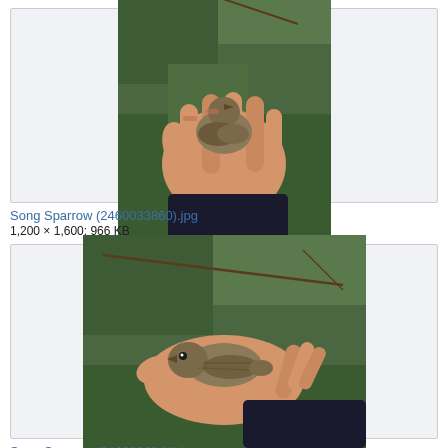[Figure (photo): A hand holding a small Song Sparrow bird, viewed from above, with green foliage in background. Thumbnail image.]
Song Sparrow (2460033860).jpg
1,200 × 1,600; 966 KB
[Figure (photo): A hand holding a small Song Sparrow bird, viewed from the side, with green foliage in background. Thumbnail image.]
Song Sparrow (2460033944).jpg
1,600 × 1,200; 968 KB